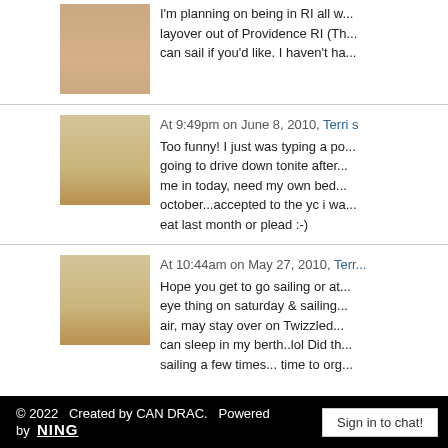I'm planning on being in RI all w... layover out of Providence RI (Th... can sail if you'd like. I haven't ha...
At 9:49pm on June 8, 2010, Terri s... Too funny! I just was typing a po... going to drive down tonite after... me in today, need my own bed... october...accepted to the yc i wa... eat last month or plead :-)
At 10:44am on May 27, 2010, Terr... Hope you get to go sailing or at... eye thing on saturday & sailing... air, may stay over on Twizzled... can sleep in my berth..lol Did th... sailing a few times... time to org...
© 2022   Created by CAN DRAC.   Powered by  NING